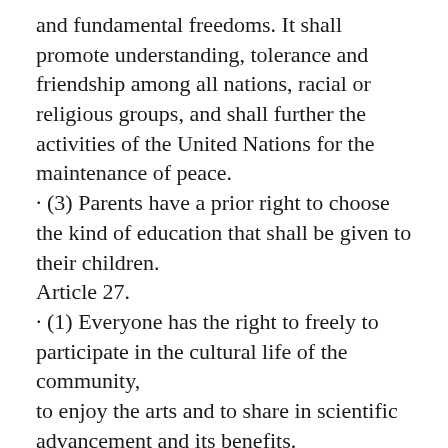and fundamental freedoms. It shall promote understanding, tolerance and friendship among all nations, racial or religious groups, and shall further the activities of the United Nations for the maintenance of peace.
· (3) Parents have a prior right to choose the kind of education that shall be given to their children.
Article 27.
· (1) Everyone has the right to freely to participate in the cultural life of the community,
to enjoy the arts and to share in scientific advancement and its benefits.
· (2) Everyone has the right to the protection of the moral and material interests resulting